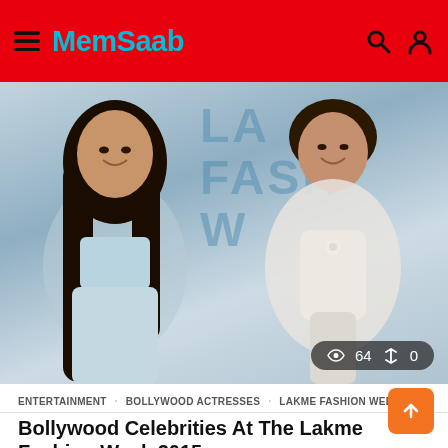MemSaab
[Figure (photo): Two women posing at Lakme Fashion Week 2015 event. Left woman has long dark hair, wearing a light blue crop top and skirt. Right woman wearing a white sheer outfit. Background shows 'LAKME FASHION WEEK' lettering in blue.]
ENTERTAINMENT   BOLLYWOOD ACTRESSES   LAKME FASHION WEEK
Bollywood Celebrities At The Lakme Fashion Week 2015
by  austin